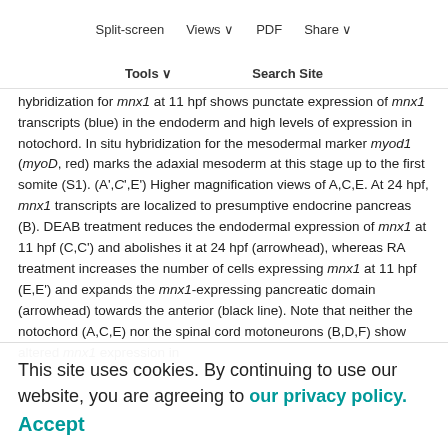Split-screen | Views | PDF | Share | Tools | Search Site
Endoderm expression of mnx1 is regulated by retinoic acid. (A-F) Control zebrafish embryos were treated with DMSO carrier (A,A') or untreated (B). Retinoic acid (RA) signaling was blocked by DEAB treatment (C-D) or elevated by RA treatment (E-F). (A,C,E) In situ hybridization for mnx1 at 11 hpf shows punctate expression of mnx1 transcripts (blue) in the endoderm and high levels of expression in notochord. In situ hybridization for the mesodermal marker myod1 (myoD, red) marks the adaxial mesoderm at this stage up to the first somite (S1). (A',C',E') Higher magnification views of A,C,E. At 24 hpf, mnx1 transcripts are localized to presumptive endocrine pancreas (B). DEAB treatment reduces the endodermal expression of mnx1 at 11 hpf (C,C') and abolishes it at 24 hpf (arrowhead), whereas RA treatment increases the number of cells expressing mnx1 at 11 hpf (E,E') and expands the mnx1-expressing pancreatic domain (arrowhead) towards the anterior (black line). Note that neither the notochord (A,C,E) nor the spinal cord motoneurons (B,D,F) show altered mnx1 expression in
This site uses cookies. By continuing to use our website, you are agreeing to our privacy policy. Accept